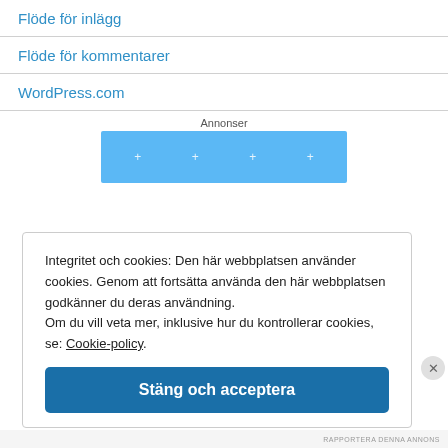Flöde för inlägg
Flöde för kommentarer
WordPress.com
[Figure (other): Blue advertisement banner labeled 'Annonser' with plus signs]
Integritet och cookies: Den här webbplatsen använder cookies. Genom att fortsätta använda den här webbplatsen godkänner du deras användning. Om du vill veta mer, inklusive hur du kontrollerar cookies, se: Cookie-policy.
Stäng och acceptera
RAPPORTERA DENNA ANNONS